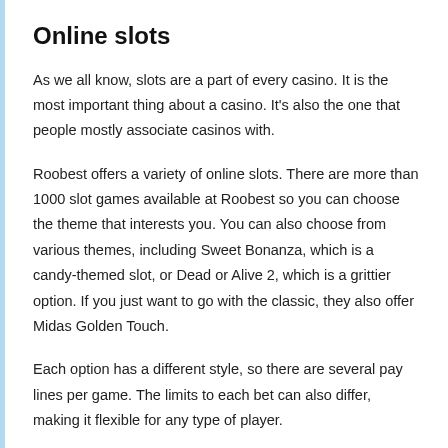Online slots
As we all know, slots are a part of every casino. It is the most important thing about a casino. It's also the one that people mostly associate casinos with.
Roobest offers a variety of online slots. There are more than 1000 slot games available at Roobest so you can choose the theme that interests you. You can also choose from various themes, including Sweet Bonanza, which is a candy-themed slot, or Dead or Alive 2, which is a grittier option. If you just want to go with the classic, they also offer Midas Golden Touch.
Each option has a different style, so there are several pay lines per game. The limits to each bet can also differ, making it flexible for any type of player.
All you need to do to access the slot games is by going through the